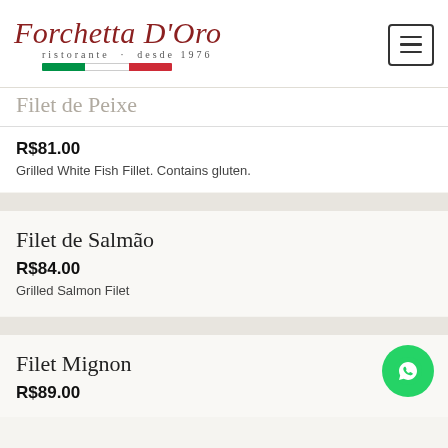Forchetta D'Oro ristorante · desde 1976
Filet de Peixe
R$81.00
Grilled White Fish Fillet. Contains gluten.
Filet de Salmão
R$84.00
Grilled Salmon Filet
Filet Mignon
R$89.00